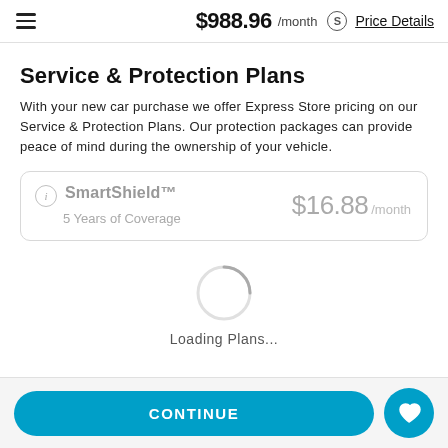$988.96 /month Price Details
Service & Protection Plans
With your new car purchase we offer Express Store pricing on our Service & Protection Plans. Our protection packages can provide peace of mind during the ownership of your vehicle.
| Plan | Price |
| --- | --- |
| SmartShield™ — 5 Years of Coverage | $16.88 /month |
[Figure (infographic): Loading spinner circle animation with text 'Loading Plans...' below it]
Loading Plans...
CONTINUE